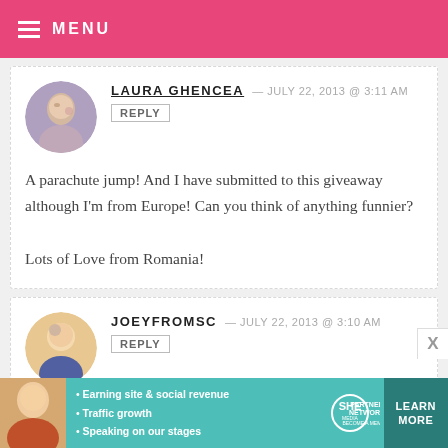MENU
LAURA GHENCEA — JULY 22, 2013 @ 3:11 AM
REPLY
A parachute jump! And I have submitted to this giveaway although I'm from Europe! Can you think of anything funnier?
Lots of Love from Romania!
JOEYFROMSC — JULY 22, 2013 @ 3:10 AM
REPLY
[Figure (infographic): SHE Partner Network advertisement banner with woman photo, bullet points about earning site and social revenue, traffic growth, speaking on stages, SHE logo, and LEARN MORE button]